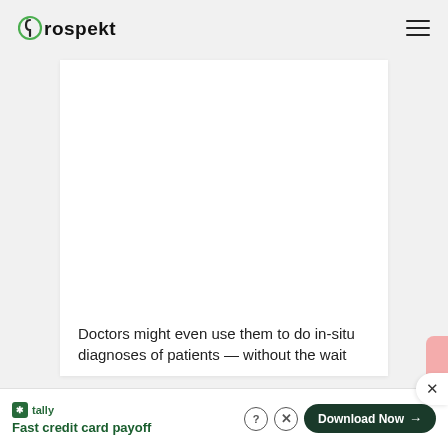Prospekt
[Figure (other): White content card / article image placeholder area (blank white rectangle)]
Doctors might even use them to do in-situ diagnoses of patients — without the wait
[Figure (other): Tally advertisement banner: 'Fast credit card payoff' with Download Now button]